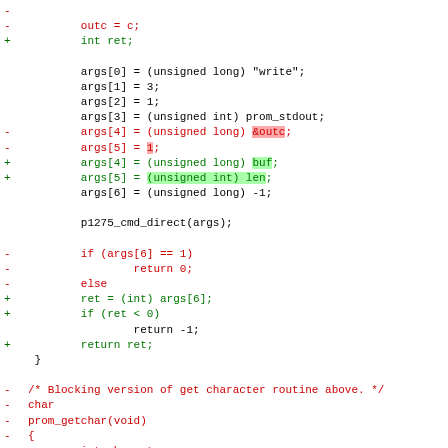diff code block showing git diff of prom write function and prom_getchar function